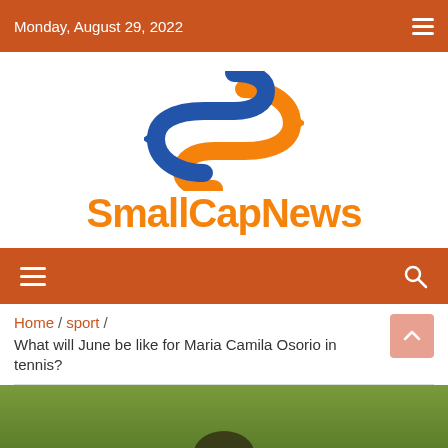Monday, August 29, 2022
[Figure (logo): SmallCapNews logo with orange and blue S-shaped arrows and orange bold text SmallCapNews]
Navigation bar with hamburger menu and search icon
Home / sport / What will June be like for Maria Camila Osorio in tennis?
[Figure (photo): Partial photo of a tennis player on a grass court, only top of head visible]